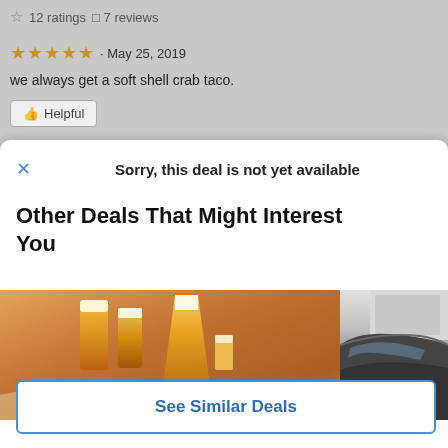☆ 12 ratings  ☐ 7 reviews
★★★★★ · May 25, 2019
we always get a soft shell crab taco.
👍 Helpful
Sorry, this deal is not yet available
Other Deals That Might Interest You
[Figure (photo): Photo of beer glasses and food (nachos/tacos) on a table in a restaurant setting]
[Figure (photo): Partial photo showing what appears to be a car roof/exterior]
See Similar Deals